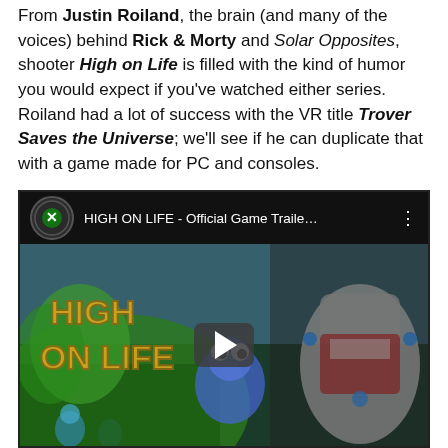From Justin Roiland, the brain (and many of the voices) behind Rick & Morty and Solar Opposites, shooter High on Life is filled with the kind of humor you would expect if you've watched either series. Roiland had a lot of success with the VR title Trover Saves the Universe; we'll see if he can duplicate that with a game made for PC and consoles.
[Figure (screenshot): YouTube video embed showing 'HIGH ON LIFE - Official Game Traile...' with Xbox channel icon in the title bar, and video thumbnail showing the High on Life game art with colorful alien characters and a play button overlay.]